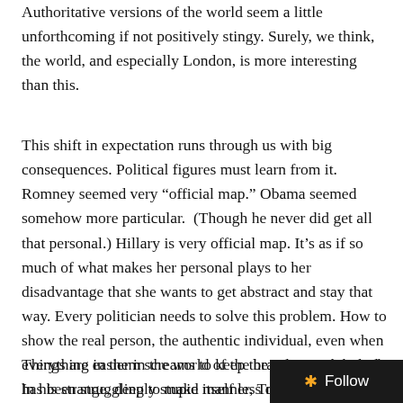Authoritative versions of the world seem a little unforthcoming if not positively stingy. Surely, we think, the world, and especially London, is more interesting than this.
This shift in expectation runs through us with big consequences. Political figures must learn from it. Romney seemed very “official map.” Obama seemed somehow more particular.  (Though he never did get all that personal.) Hillary is very official map. It’s as if so much of what makes her personal plays to her disadvantage that she wants to get abstract and stay that way. Every politician needs to solve this problem. How to show the real person, the authentic individual, even when everything in them screams to keep the image airbrushed. In his strange, deeply stupid manner, Trump has addressed this problem.
Things are easier in the world of the brand.  Every brand has been struggling to make itself less official and more particular for some time. This means letting in the consumer a…